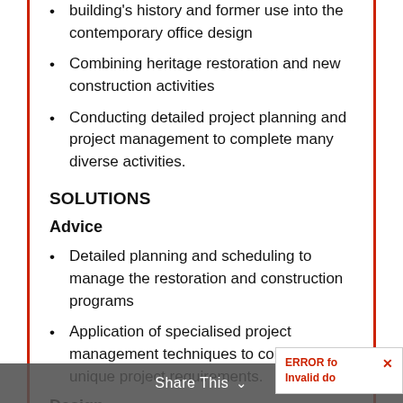building's history and former use into the contemporary office design
Combining heritage restoration and new construction activities
Conducting detailed project planning and project management to complete many diverse activities.
SOLUTIONS
Advice
Detailed planning and scheduling to manage the restoration and construction programs
Application of specialised project management techniques to control the unique project requirements.
Design
Detailed planning and scheduling to manage